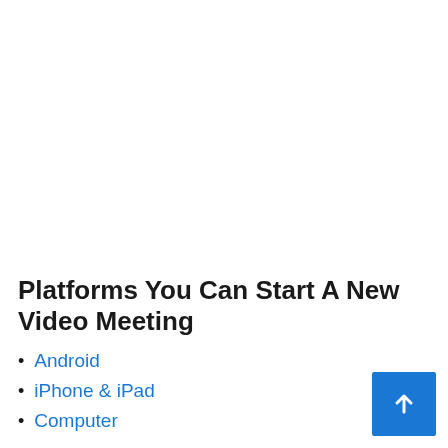Platforms You Can Start A New Video Meeting
Android
iPhone & iPad
Computer